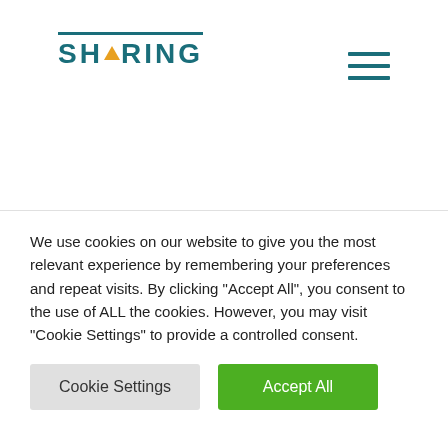[Figure (logo): SHARING company logo with teal text and orange triangle accent, teal horizontal line above the text]
[Figure (other): Hamburger menu icon with three teal horizontal lines]
We use cookies on our website to give you the most relevant experience by remembering your preferences and repeat visits. By clicking "Accept All", you consent to the use of ALL the cookies. However, you may visit "Cookie Settings" to provide a controlled consent.
Cookie Settings
Accept All